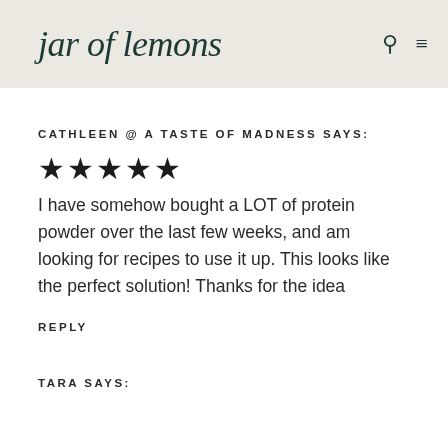jar of lemons
CATHLEEN @ A TASTE OF MADNESS SAYS:
★★★★★
I have somehow bought a LOT of protein powder over the last few weeks, and am looking for recipes to use it up. This looks like the perfect solution! Thanks for the idea
REPLY
TARA SAYS: